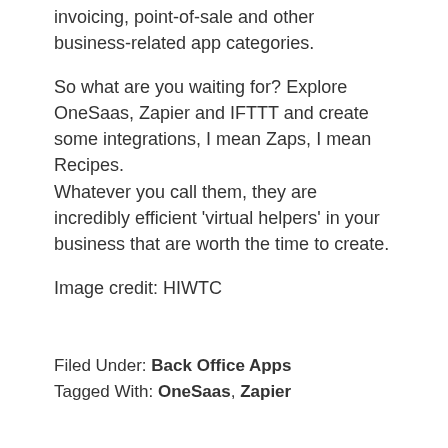invoicing, point-of-sale and other business-related app categories.
So what are you waiting for? Explore OneSaas, Zapier and IFTTT and create some integrations, I mean Zaps, I mean Recipes.
Whatever you call them, they are incredibly efficient 'virtual helpers' in your business that are worth the time to create.
Image credit: HIWTC
Filed Under: Back Office Apps
Tagged With: OneSaas, Zapier